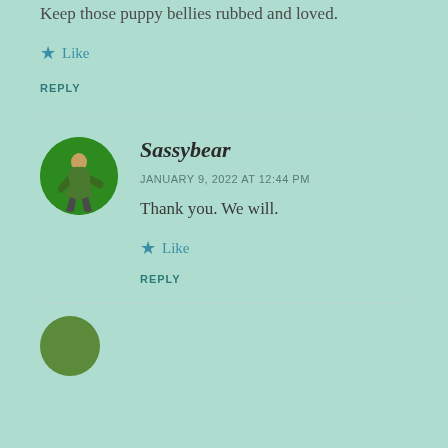Keep those puppy bellies rubbed and loved.
★ Like
REPLY
Sassybear
JANUARY 9, 2022 AT 12:44 PM
Thank you. We will.
★ Like
REPLY